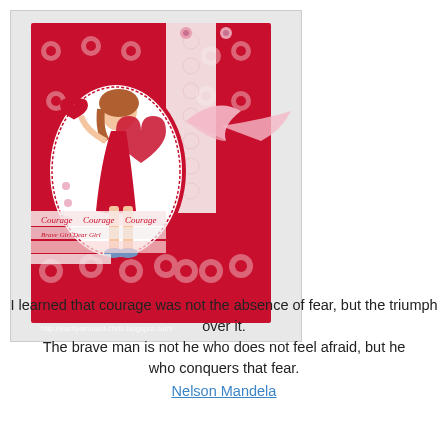[Figure (photo): A handmade greeting card with red and white floral patterned paper, featuring an oval-framed illustration of a girl in a red dress carrying large red hearts, decorated with pink ribbon bow, rhinestones, and 'Courage' text strips. URL watermark: http://easilyamused-chris.blogspot.com/]
I learned that courage was not the absence of fear, but the triumph over it. The brave man is not he who does not feel afraid, but he who conquers that fear.
Nelson Mandela